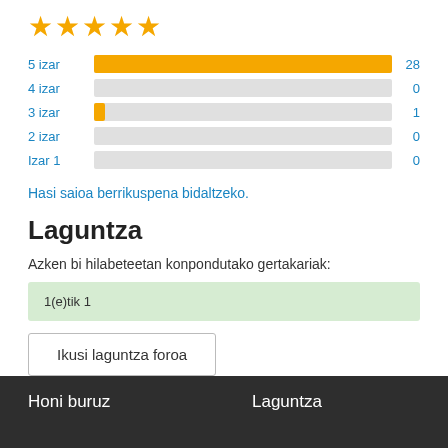[Figure (bar-chart): Star ratings]
Hasi saioa berrikuspena bidaltzeko.
Laguntza
Azken bi hilabeteetan konpondutako gertakariak:
1(e)tik 1
Ikusi laguntza foroa
Honi buruz   Laguntza